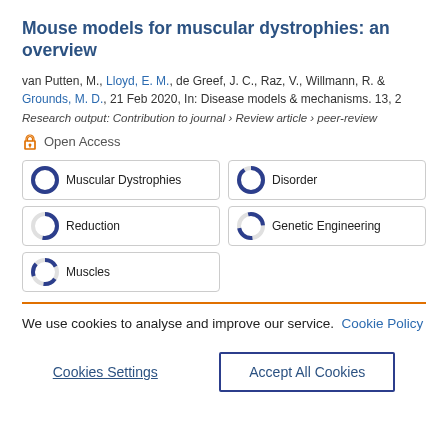Mouse models for muscular dystrophies: an overview
van Putten, M., Lloyd, E. M., de Greef, J. C., Raz, V., Willmann, R. & Grounds, M. D., 21 Feb 2020, In: Disease models & mechanisms. 13, 2
Research output: Contribution to journal › Review article › peer-review
Open Access
Muscular Dystrophies
Disorder
Reduction
Genetic Engineering
Muscles
We use cookies to analyse and improve our service. Cookie Policy
Cookies Settings
Accept All Cookies